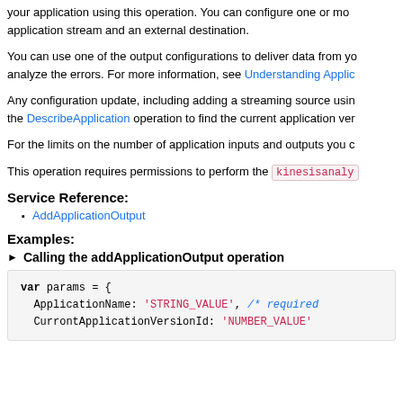your application using this operation. You can configure one or more application stream and an external destination.
You can use one of the output configurations to deliver data from your application to analyze the errors. For more information, see Understanding Applic...
Any configuration update, including adding a streaming source using the DescribeApplication operation to find the current application version...
For the limits on the number of application inputs and outputs you can...
This operation requires permissions to perform the kinesisanaly... action.
Service Reference:
AddApplicationOutput
Examples:
► Calling the addApplicationOutput operation
[Figure (screenshot): Code block showing: var params = { ApplicationName: 'STRING_VALUE', /* required CurrentApplicationVersionId: 'NUMBER_VALUE'...]